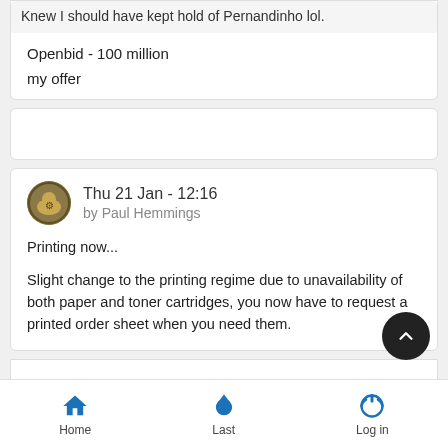Knew I should have kept hold of Pernandinho lol.
Openbid - 100 million
my offer
Thu 21 Jan - 12:16 by Paul Hemmings
Printing now...
Slight change to the printing regime due to unavailability of both paper and toner cartridges, you now have to request a printed order sheet when you need them.
Home  Last  Log in